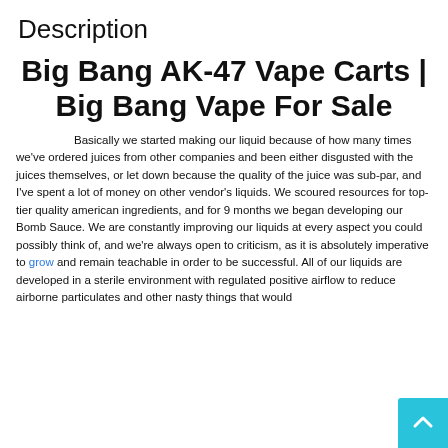Description
Big Bang AK-47 Vape Carts | Big Bang Vape For Sale
Basically we started making our liquid because of how many times we've ordered juices from other companies and been either disgusted with the juices themselves, or let down because the quality of the juice was sub-par, and I've spent a lot of money on other vendor's liquids. We scoured resources for top-tier quality american ingredients, and for 9 months we began developing our Bomb Sauce. We are constantly improving our liquids at every aspect you could possibly think of, and we're always open to criticism, as it is absolutely imperative to grow and remain teachable in order to be successful. All of our liquids are developed in a sterile environment with regulated positive airflow to reduce airborne particulates and other nasty things that would